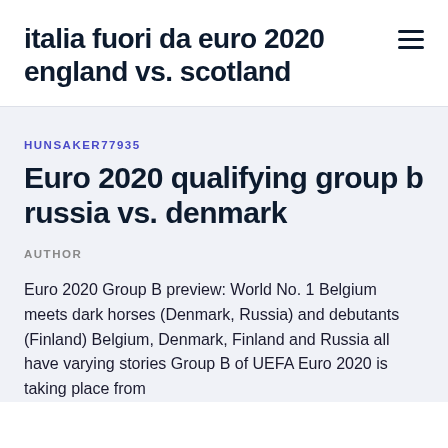italia fuori da euro 2020 england vs. scotland
HUNSAKER77935
Euro 2020 qualifying group b russia vs. denmark
AUTHOR
Euro 2020 Group B preview: World No. 1 Belgium meets dark horses (Denmark, Russia) and debutants (Finland) Belgium, Denmark, Finland and Russia all have varying stories Group B of UEFA Euro 2020 is taking place from